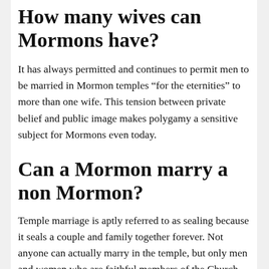How many wives can Mormons have?
It has always permitted and continues to permit men to be married in Mormon temples “for the eternities” to more than one wife. This tension between private belief and public image makes polygamy a sensitive subject for Mormons even today.
Can a Mormon marry a non Mormon?
Temple marriage is aptly referred to as sealing because it seals a couple and family together forever. Not anyone can actually marry in the temple, but only men and women who are faithful members of the Church. Marrying a non-member is allowed, however, the marriage